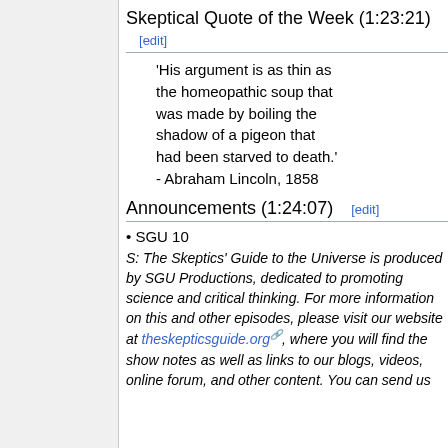Skeptical Quote of the Week (1:23:21) [edit]
'His argument is as thin as the homeopathic soup that was made by boiling the shadow of a pigeon that had been starved to death.' - Abraham Lincoln, 1858
Announcements (1:24:07) [edit]
SGU 10
S: The Skeptics' Guide to the Universe is produced by SGU Productions, dedicated to promoting science and critical thinking. For more information on this and other episodes, please visit our website at theskepticsguide.org, where you will find the show notes as well as links to our blogs, videos, online forum, and other content. You can send us